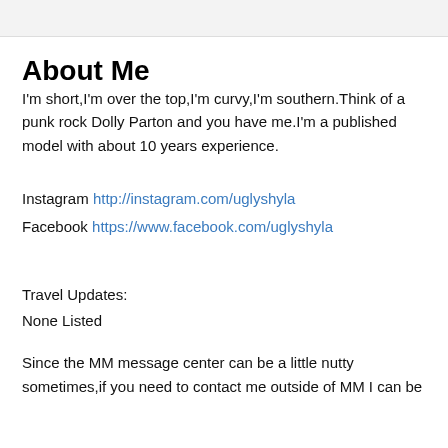About Me
I'm short,I'm over the top,I'm curvy,I'm southern.Think of a punk rock Dolly Parton and you have me.I'm a published model with about 10 years experience.
Instagram http://instagram.com/uglyshyla
Facebook https://www.facebook.com/uglyshyla
Travel Updates:
None Listed
Since the MM message center can be a little nutty sometimes,if you need to contact me outside of MM I can be